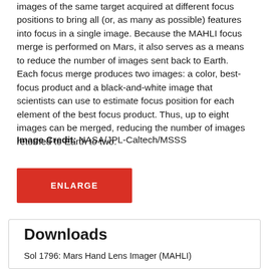images of the same target acquired at different focus positions to bring all (or, as many as possible) features into focus in a single image. Because the MAHLI focus merge is performed on Mars, it also serves as a means to reduce the number of images sent back to Earth. Each focus merge produces two images: a color, best-focus product and a black-and-white image that scientists can use to estimate focus position for each element of the best focus product. Thus, up to eight images can be merged, reducing the number of images returned to Earth to two.
Image Credit: NASA/JPL-Caltech/MSSS
ENLARGE
Downloads
Sol 1796: Mars Hand Lens Imager (MAHLI)